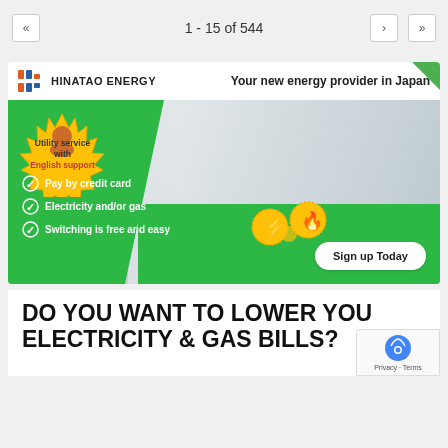1 - 15 of 544
[Figure (infographic): Hinatao Energy advertisement banner. Logo top-left with orange and blue H-shaped icon and text 'HINATAO ENERGY'. Tagline 'Your new energy provider in Japan'. Photo of two people at laptop. Green background with starburst badge saying 'Utility service with English support'. Three checklist items: 'Pay by credit card', 'Electricity and/or gas', 'Switching is free and easy'. Button: 'Sign up Today'. Energy icons (lightning bolt, flame).]
DO YOU WANT TO LOWER YOUR ELECTRICITY & GAS BILLS?